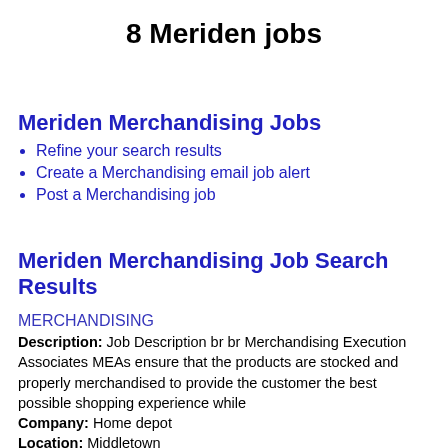8 Meriden jobs
Meriden Merchandising Jobs
Refine your search results
Create a Merchandising email job alert
Post a Merchandising job
Meriden Merchandising Job Search Results
MERCHANDISING
Description: Job Description br br Merchandising Execution Associates MEAs ensure that the products are stocked and properly merchandised to provide the customer the best possible shopping experience while
Company: Home depot
Location: Middletown